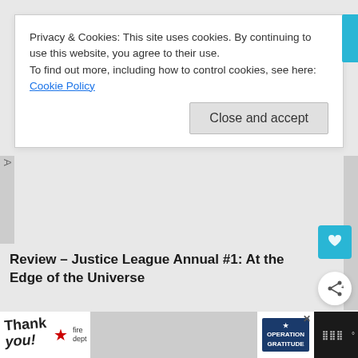Privacy & Cookies: This site uses cookies. By continuing to use this website, you agree to their use.
To find out more, including how to control cookies, see here: Cookie Policy
Close and accept
Review – Justice League Annual #1: At the Edge of the Universe
January 30, 2019   Ray Goldfield  —
[Figure (screenshot): Advertisement bar at the bottom showing 'Thank you!' text with American flag star graphic and Operation Gratitude logo with firefighters photo]